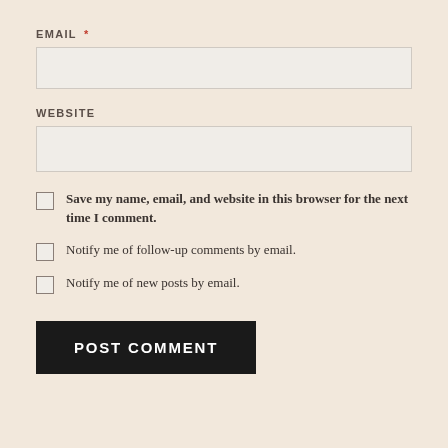EMAIL *
WEBSITE
Save my name, email, and website in this browser for the next time I comment.
Notify me of follow-up comments by email.
Notify me of new posts by email.
POST COMMENT